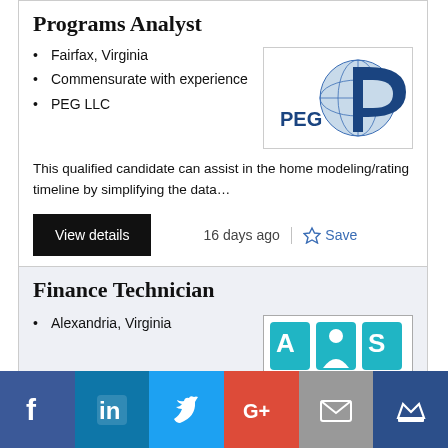Programs Analyst
Fairfax, Virginia
Commensurate with experience
PEG LLC
[Figure (logo): PEG LLC company logo with globe and stylized P letter in blue]
This qualified candidate can assist in the home modeling/rating timeline by simplifying the data…
View details
16 days ago
Save
Finance Technician
Alexandria, Virginia
[Figure (logo): ADS or similar company logo in teal/cyan colors]
[Figure (infographic): Social media share bar with Facebook, LinkedIn, Twitter, Google+, Email, and Crown icons]